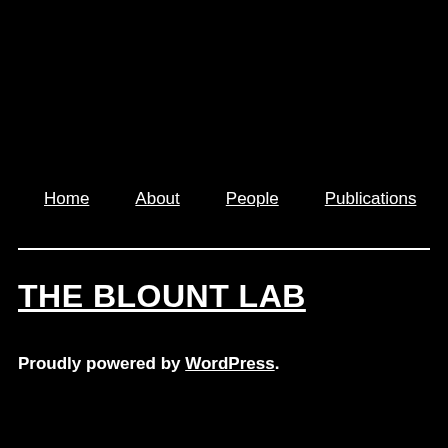Home   About   People   Publications   [envelope icon]
THE BLOUNT LAB
Proudly powered by WordPress.